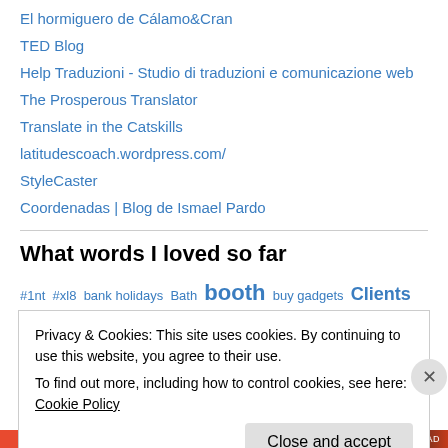El hormiguero de Cálamo&Cran
TED Blog
Help Traduzioni - Studio di traduzioni e comunicazione web
The Prosperous Translator
Translate in the Catskills
latitudescoach.wordpress.com/
StyleCaster
Coordenadas | Blog de Ismael Pardo
What words I loved so far
#1nt #xl8 bank holidays Bath booth buy gadgets Clients coffee coffee cups
Privacy & Cookies: This site uses cookies. By continuing to use this website, you agree to their use. To find out more, including how to control cookies, see here: Cookie Policy
Close and accept